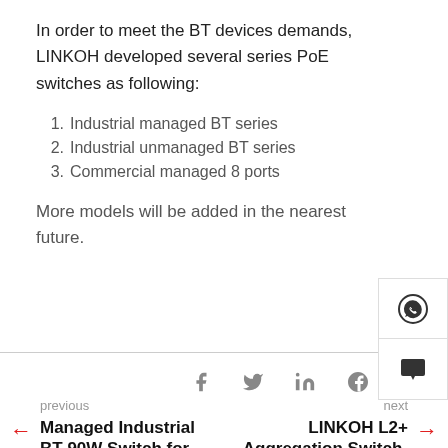In order to meet the BT devices demands, LINKOH developed several series PoE switches as following:
1. Industrial managed BT series
2. Industrial unmanaged BT series
3. Commercial managed 8 ports
More models will be added in the nearest future.
previous
Managed Industrial BT 90W Switch for
next
LINKOH L2+ Aggregation Switch-